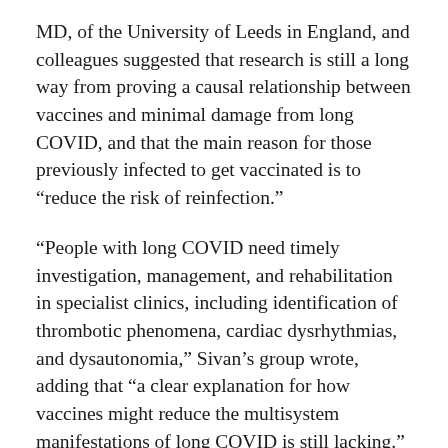MD, of the University of Leeds in England, and colleagues suggested that research is still a long way from proving a causal relationship between vaccines and minimal damage from long COVID, and that the main reason for those previously infected to get vaccinated is to “reduce the risk of reinfection.”
“People with long COVID need timely investigation, management, and rehabilitation in specialist clinics, including identification of thrombotic phenomena, cardiac dysrhythmias, and dysautonomia,” Sivan’s group wrote, adding that “a clear explanation for how vaccines might reduce the multisystem manifestations of long COVID is still lacking.”
Ayoubkhani and colleagues examined data on 28,356 adults ages 18 to 69 who participated in the COVID-19 Infection Survey and who received at least one dose of adenovirus vector or mRNA vaccine after testing